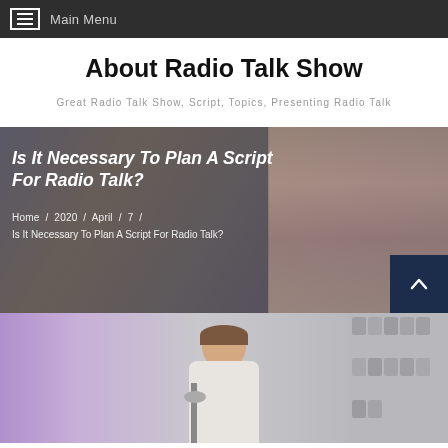Main Menu
About Radio Talk Show
Great Radio Talk Show, Script, Topics, Presenting Radio Talk
[Figure (photo): Hero banner with a woman reading in a library background. Text overlay reads: Is It Necessary To Plan A Script For Radio Talk? Breadcrumb: Home / 2020 / April / 7 / Is It Necessary To Plan A Script For Radio Talk?]
[Figure (photo): Photo of a woman with headphones smiling in a radio studio with acoustic panels and a microphone, purple background.]